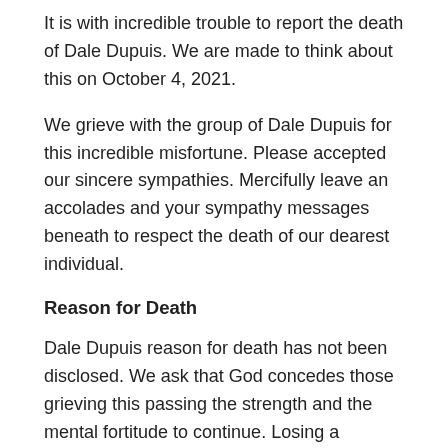It is with incredible trouble to report the death of Dale Dupuis. We are made to think about this on October 4, 2021.
We grieve with the group of Dale Dupuis for this incredible misfortune. Please accepted our sincere sympathies. Mercifully leave an accolades and your sympathy messages beneath to respect the death of our dearest individual.
Reason for Death
Dale Dupuis reason for death has not been disclosed. We ask that God concedes those grieving this passing the strength and the mental fortitude to continue. Losing a cherished one will be one of the most troublesome sentiments on the planet. Our contemplations and petitions are with everybody going through a